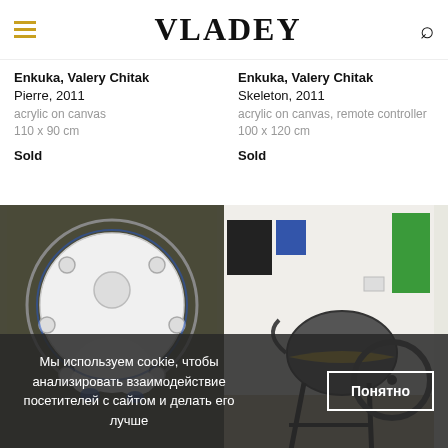VLADEY
Enkuka, Valery Chitak
Pierre, 2011
acrylic on canvas
110 x 90 cm
Sold
Enkuka, Valery Chitak
Skeleton, 2011
acrylic on canvas, remote controller
100 x 120 cm
Sold
[Figure (photo): Painting on dark olive/grey background showing a circular shape resembling a drain or flange with blue accents and white blob shape]
[Figure (photo): Sculpture of a dark grey concrete mixer drum on a black metal stand with yellow striped band, installed in a white gallery space with green panel visible]
Мы используем cookie, чтобы анализировать взаимодействие посетителей с сайтом и делать его лучше
Понятно